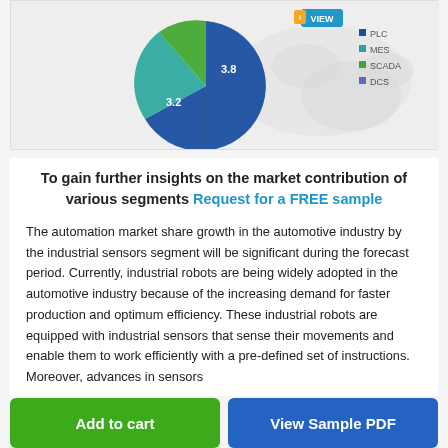[Figure (pie-chart): Partial pie chart showing segments (PLC, MES, SCADA, DCS) with a world map in background. A 'VIEW' button overlay visible. Pie has blue and green segments with visible values 3.8 and 3.2.]
To gain further insights on the market contribution of various segments Request for a FREE sample
The automation market share growth in the automotive industry by the industrial sensors segment will be significant during the forecast period. Currently, industrial robots are being widely adopted in the automotive industry because of the increasing demand for faster production and optimum efficiency. These industrial robots are equipped with industrial sensors that sense their movements and enable them to work efficiently with a pre-defined set of instructions. Moreover, advances in sensors...